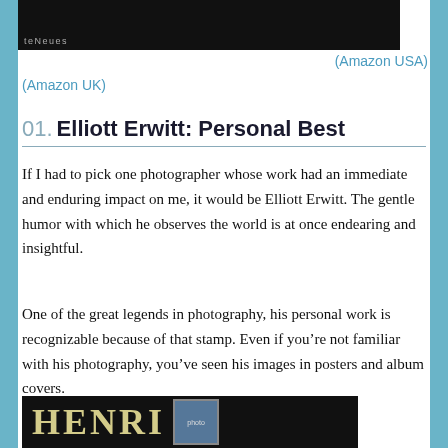[Figure (photo): Top portion of a book cover with dark background and teNeues publisher logo]
(Amazon USA)
(Amazon UK)
01.  Elliott Erwitt: Personal Best
If I had to pick one photographer whose work had an immediate and enduring impact on me, it would be Elliott Erwitt. The gentle humor with which he observes the world is at once endearing and insightful.
One of the great legends in photography, his personal work is recognizable because of that stamp. Even if you’re not familiar with his photography, you’ve seen his images in posters and album covers.
[Figure (photo): Bottom portion of a book cover showing the word HENRI in large cream letters on black background with a small vintage photo inset]